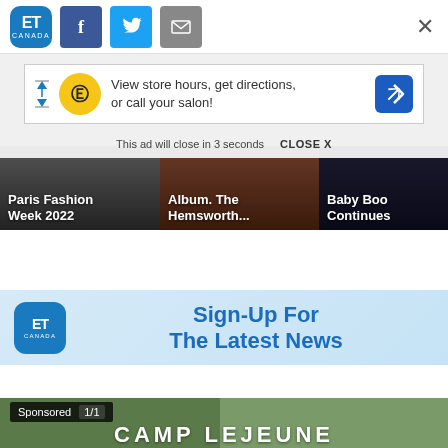[Figure (logo): ET Canada logo and social sharing buttons (Facebook, Twitter, email) with close X button]
[Figure (screenshot): Advertisement banner: HC logo with text 'View store hours, get directions, or call your salon!' with navigation arrow icon. Below: 'This ad will close in 3 seconds   CLOSE X']
[Figure (screenshot): Carousel with three story cards: 'Paris Fashion Week 2022', 'Album. The Hemsworth...', 'Baby Boo Continues']
[Figure (screenshot): ET Canada signup banner with ET Canada logo and text 'Sign-Up For The Latest News' in blue]
[Figure (screenshot): Camp Lejeune sponsored card with 'Sponsored 1/1' badge and 'CAMP LEJEUNE' text at bottom]